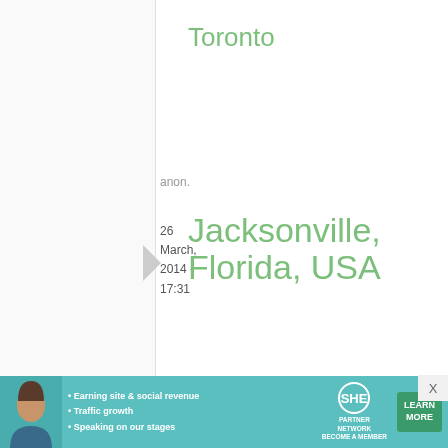Toronto
anon.
26 March, 2014 - 17:31
permalink
Jacksonville, Florida, USA
Name of store - Circle Japan

Address - 12192 Beach Blvd, Jacksonville, FL 32246

Phone number - (904)
[Figure (infographic): Advertisement banner for SHE Partner Network with text: Earning site & social revenue, Traffic growth, Speaking on our stages. Includes LEARN MORE button.]